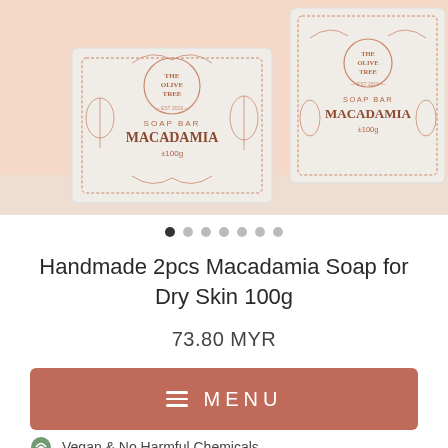[Figure (photo): Two Olive Tree Macadamia Soap Bar boxes (100g each) against a peach/salmon background]
Handmade 2pcs Macadamia Soap for Dry Skin 100g
73.80 MYR
≡ MENU
Vegan & No Harmful Chemicals